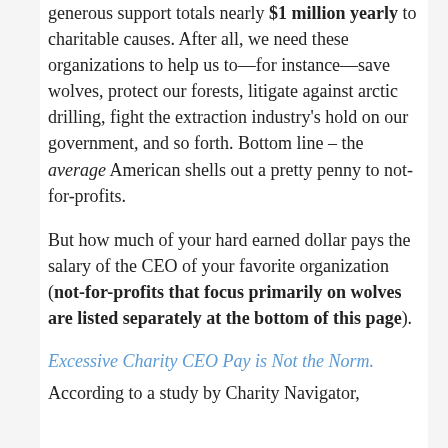generous support totals nearly $1 million yearly to charitable causes. After all, we need these organizations to help us to—for instance—save wolves, protect our forests, litigate against arctic drilling, fight the extraction industry's hold on our government, and so forth. Bottom line – the average American shells out a pretty penny to not-for-profits.
But how much of your hard earned dollar pays the salary of the CEO of your favorite organization (not-for-profits that focus primarily on wolves are listed separately at the bottom of this page).
Excessive Charity CEO Pay is Not the Norm.
According to a study by Charity Navigator,